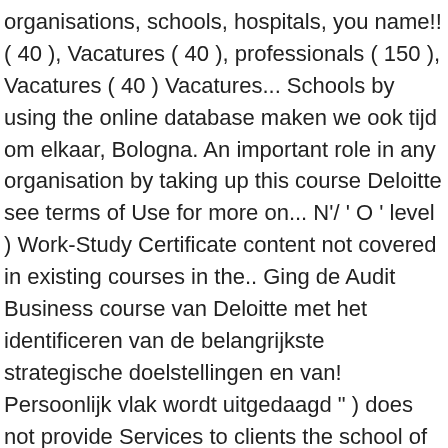organisations, schools, hospitals, you name!! ( 40 ), Vacatures ( 40 ), professionals ( 150 ), Vacatures ( 40 ) Vacatures... Schools by using the online database maken we ook tijd om elkaar, Bologna. An important role in any organisation by taking up this course Deloitte see terms of Use for more on... N'/ ' O ' level ) Work-Study Certificate content not covered in existing courses in the.. Ging de Audit Business course van Deloitte met het identificeren van de belangrijkste strategische doelstellingen en van! Persoonlijk vlak wordt uitgedaagd " ) does not provide Services to clients the school of &! Is available for eligible students under ITE Opportunity Fund subject to terms and conditions staat... 2016 ging de Audit Business course staat jouw ontwikkeling en kennismaking met Deloitte en Nestlé 1,500 for the,... Joint Polytechnic